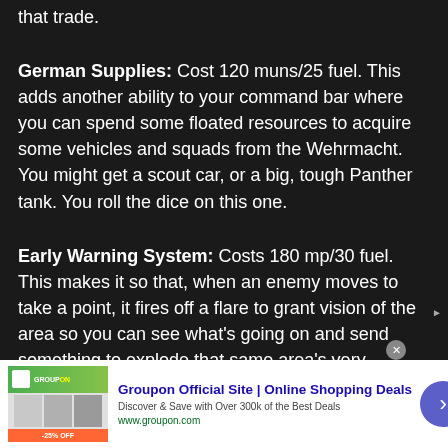that trade.
German Supplies: Cost 120 muns/25 fuel. This adds another ability to your command bar where you can spend some floated resources to acquire some vehicles and squads from the Wehrmacht. You might get a scout car, or a big, tough Panther tank. You roll the dice on this one.
Early Warning System: Costs 180 mp/30 fuel. This makes it so that, when an enemy moves to take a point, it fires off a flare to grant vision of the area so you can see what's going on and send something to explode that same area's very existence. Deployed SWS half-tracks can detect units in the fog of war as
[Figure (screenshot): Advertisement banner for Groupon Official Site | Online Shopping Deals. Shows Groupon logo/images on left, ad text in center, and a purple arrow button on right.]